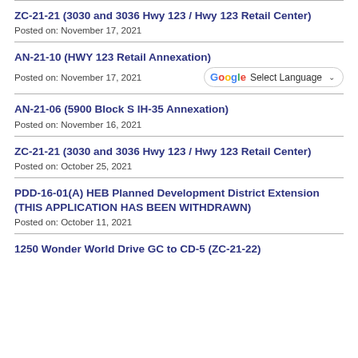ZC-21-21 (3030 and 3036 Hwy 123 / Hwy 123 Retail Center)
Posted on: November 17, 2021
AN-21-10 (HWY 123 Retail Annexation)
Posted on: November 17, 2021
AN-21-06 (5900 Block S IH-35 Annexation)
Posted on: November 16, 2021
ZC-21-21 (3030 and 3036 Hwy 123 / Hwy 123 Retail Center)
Posted on: October 25, 2021
PDD-16-01(A) HEB Planned Development District Extension (THIS APPLICATION HAS BEEN WITHDRAWN)
Posted on: October 11, 2021
1250 Wonder World Drive GC to CD-5 (ZC-21-22)